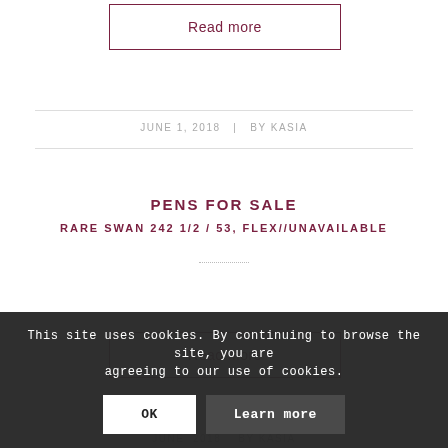Read more
JUNE 1, 2018   |   BY KASIA
PENS FOR SALE
RARE SWAN 242 1/2 / 53, FLEX//UNAVAILABLE
Read more
This site uses cookies. By continuing to browse the site, you are agreeing to our use of cookies.
OK
Learn more
JUNE 2018   BY KASIA